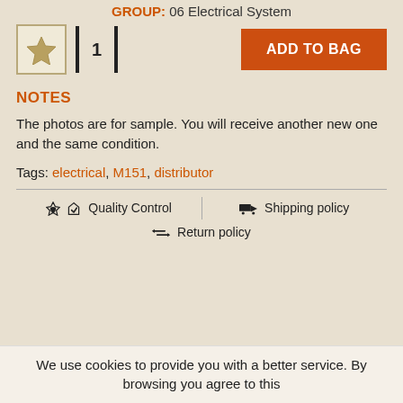GROUP: 06 Electrical System
[Figure (other): Star rating icon and quantity selector showing 1, plus orange ADD TO BAG button]
NOTES
The photos are for sample. You will receive another new one and the same condition.
Tags: electrical, M151, distributor
Quality Control   Shipping policy   Return policy
We use cookies to provide you with a better service. By browsing you agree to this